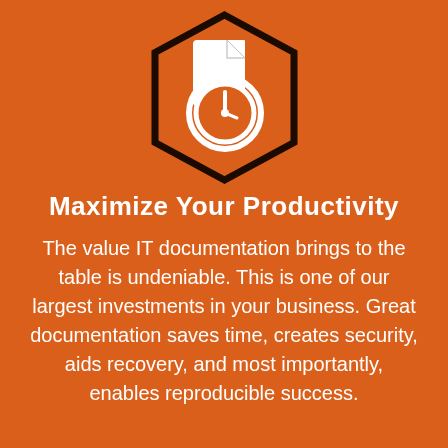[Figure (illustration): A hexagon icon outline in dark brown/black with an orange fill matching background, containing a white document icon overlaid with a white stopwatch/timer icon in the center.]
Maximize Your Productivity
The value IT documentation brings to the table is undeniable. This is one of our largest investments in your business. Great documentation saves time, creates security, aids recovery, and most importantly, enables reproducible success.